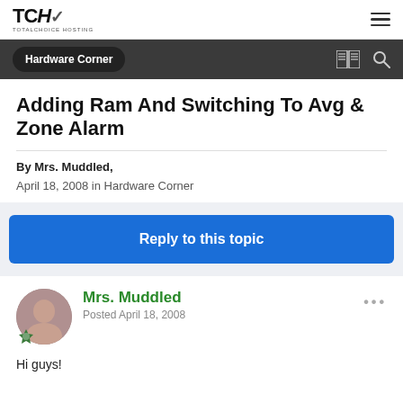TCH TOTALCHOICE HOSTING
Hardware Corner
Adding Ram And Switching To Avg & Zone Alarm
By Mrs. Muddled,
April 18, 2008 in Hardware Corner
Reply to this topic
Mrs. Muddled
Posted April 18, 2008
Hi guys!